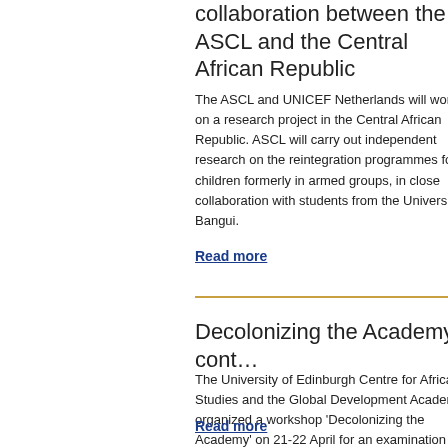collaboration between the ASCL and the Central African Republic
The ASCL and UNICEF Netherlands will work on a research project in the Central African Republic. ASCL will carry out independent research on the reintegration programmes for children formerly in armed groups, in close collaboration with students from the University of Bangui.
Read more
Decolonizing the Academy: cont…
The University of Edinburgh Centre for African Studies and the Global Development Academy organized a workshop 'Decolonizing the Academy' on 21-22 April for an examination of how knowledge and power are produced and denied through the Academy. Focus was on how do our institutions reinforce unequal access to opportunities, and knowledge? How do we change it? Akinyinka Akinyoade represented the ASCL.
Read more